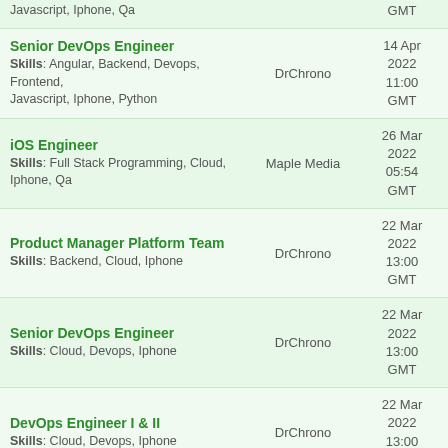Javascript, Iphone, Qa | DrChrono | GMT
Senior DevOps Engineer
Skills: Angular, Backend, Devops, Frontend, Javascript, Iphone, Python | DrChrono | 14 Apr 2022 11:00 GMT
iOS Engineer
Skills: Full Stack Programming, Cloud, Iphone, Qa | Maple Media | 26 Mar 2022 05:54 GMT
Product Manager Platform Team
Skills: Backend, Cloud, Iphone | DrChrono | 22 Mar 2022 13:00 GMT
Senior DevOps Engineer
Skills: Cloud, Devops, Iphone | DrChrono | 22 Mar 2022 13:00 GMT
DevOps Engineer I & II
Skills: Cloud, Devops, Iphone | DrChrono | 22 Mar 2022 13:00 GMT
Senior Software Engineer
Skills: Android, Backend, Devops, Frontend, Iphone | Duet, Inc. | 13 Mar 2022 20:46 GMT
iOS Engineer, DeFi | 21 Feb 2022